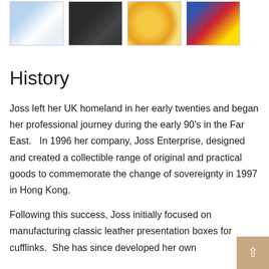[Figure (photo): Strip of four product images: a decorative mug, a black hat/cap, colorful coins or badges, and stamp sheets with red/blue/yellow design]
History
Joss left her UK homeland in her early twenties and began her professional journey during the early 90's in the Far East.   In 1996 her company, Joss Enterprise, designed and created a collectible range of original and practical goods to commemorate the change of sovereignty in 1997 in Hong Kong.
Following this success, Joss initially focused on manufacturing classic leather presentation boxes for cufflinks.  She has since developed her own